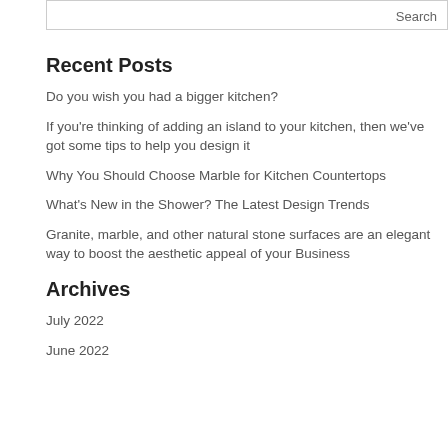Search
Recent Posts
Do you wish you had a bigger kitchen?
If you're thinking of adding an island to your kitchen, then we've got some tips to help you design it
Why You Should Choose Marble for Kitchen Countertops
What's New in the Shower? The Latest Design Trends
Granite, marble, and other natural stone surfaces are an elegant way to boost the aesthetic appeal of your Business
Archives
July 2022
June 2022